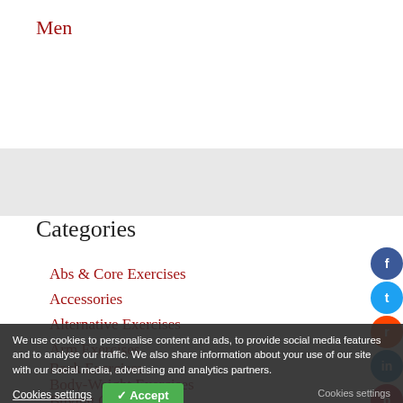Men
Categories
Abs & Core Exercises
Accessories
Alternative Exercises
Arm Exercises
Back Exercises
Body-Weight Exercises
Buying Guides
We use cookies to personalise content and ads, to provide social media features and to analyse our traffic. We also share information about your use of our site with our social media, advertising and analytics partners.
Cookies settings
✓ Accept
Cookies settings